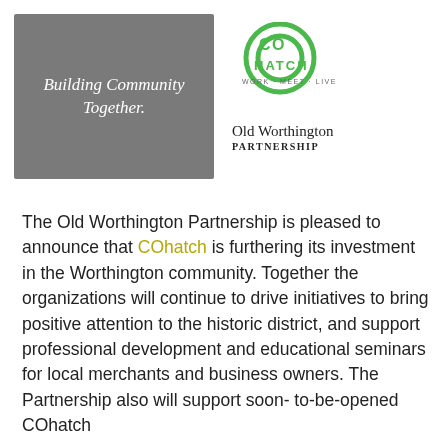[Figure (logo): Gray box with white cursive text 'Building Community Together.']
[Figure (logo): COhatch logo: green circle with 'CO' text, HATCH below, subtitle WORK · MEET · LIVE]
[Figure (logo): Old Worthington PARTNERSHIP text logo]
The Old Worthington Partnership is pleased to announce that COhatch is furthering its investment in the Worthington community. Together the organizations will continue to drive initiatives to bring positive attention to the historic district, and support professional development and educational seminars for local merchants and business owners. The Partnership also will support soon- to-be-opened COhatch...